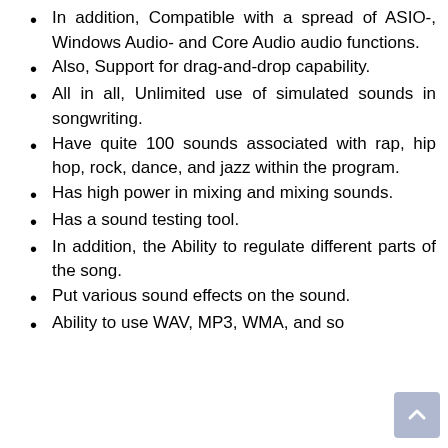In addition, Compatible with a spread of ASIO-, Windows Audio- and Core Audio audio functions.
Also, Support for drag-and-drop capability.
All in all, Unlimited use of simulated sounds in songwriting.
Have quite 100 sounds associated with rap, hip hop, rock, dance, and jazz within the program.
Has high power in mixing and mixing sounds.
Has a sound testing tool.
In addition, the Ability to regulate different parts of the song.
Put various sound effects on the sound.
Ability to use WAV, MP3, WMA, and so